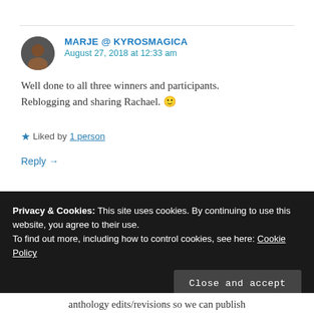MARJE @ KYROSMAGICA
August 27, 2018 at 12:33 am
Well done to all three winners and participants. Reblogging and sharing Rachael. 🙂
★ Liked by 1 person
Reply →
Privacy & Cookies: This site uses cookies. By continuing to use this website, you agree to their use.
To find out more, including how to control cookies, see here: Cookie Policy
Close and accept
anthology edits/revisions so we can publish